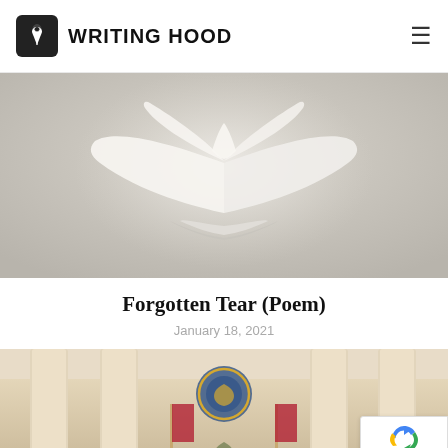WRITING HOOD
[Figure (photo): An open book with pages fanning upward like wings of a bird against a soft gray background]
Forgotten Tear (Poem)
January 18, 2021
[Figure (photo): Interior of a formal room resembling the White House Oval Office, with columns, American flags, and a presidential seal]